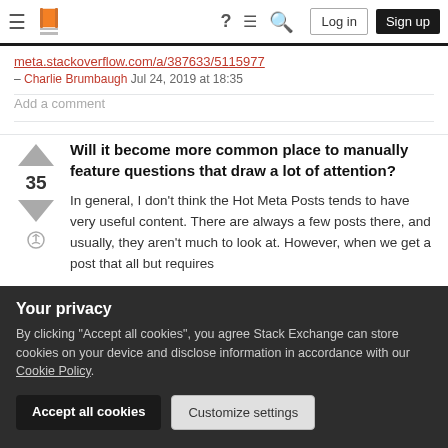Stack Overflow navigation bar with Log in and Sign up buttons
meta.stackoverflow.com/a/387633/5115977
– Charlie Brumbaugh Jul 24, 2019 at 18:35
Add a comment
Will it become more common place to manually feature questions that draw a lot of attention?
In general, I don't think the Hot Meta Posts tends to have very useful content. There are always a few posts there, and usually, they aren't much to look at. However, when we get a post that all but requires
Your privacy
By clicking "Accept all cookies", you agree Stack Exchange can store cookies on your device and disclose information in accordance with our Cookie Policy.
Accept all cookies
Customize settings